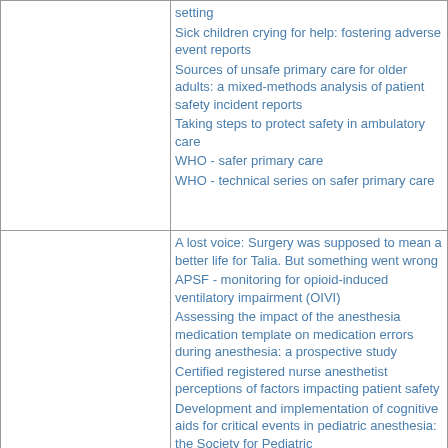|  | setting
Sick children crying for help: fostering adverse event reports
Sources of unsafe primary care for older adults: a mixed-methods analysis of patient safety incident reports
Taking steps to protect safety in ambulatory care
WHO - safer primary care
WHO - technical series on safer primary care |
|  | A lost voice: Surgery was supposed to mean a better life for Talia. But something went wrong
APSF - monitoring for opioid-induced ventilatory impairment (OIVI)
Assessing the impact of the anesthesia medication template on medication errors during anesthesia: a prospective study
Certified registered nurse anesthetist perceptions of factors impacting patient safety
Development and implementation of cognitive aids for critical events in pediatric anesthesia: the Society for Pediatric |